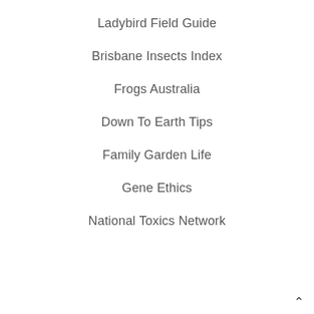Ladybird Field Guide
Brisbane Insects Index
Frogs Australia
Down To Earth Tips
Family Garden Life
Gene Ethics
National Toxics Network